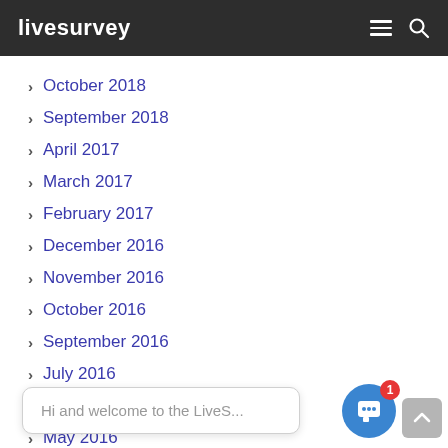livesurvey
October 2018
September 2018
April 2017
March 2017
February 2017
December 2016
November 2016
October 2016
September 2016
July 2016
June 2016
May 2016
April 2016
March 2016
[Figure (screenshot): Chat widget overlay with message 'Hi and welcome to the LiveS...' and a blue chat button with notification badge showing 1]